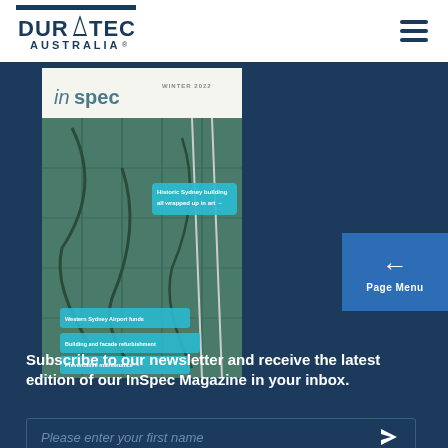[Figure (logo): Duratec Australia logo — blue stylized text 'DURATEC' with triangle accent and 'AUSTRALIA' below]
[Figure (photo): InSpec magazine cover, Winter 2022 edition, featuring a historic Sydney building wrapped in art — green net/mesh facade with teal headline stickers]
Page Menu
Subscribe to our newsletter and receive the latest edition of our InSpec Magazine in your inbox.
Please enter your first name